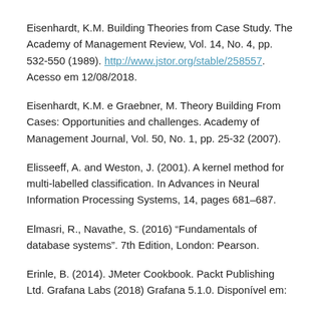Eisenhardt, K.M. Building Theories from Case Study. The Academy of Management Review, Vol. 14, No. 4, pp. 532-550 (1989). http://www.jstor.org/stable/258557. Acesso em 12/08/2018.
Eisenhardt, K.M. e Graebner, M. Theory Building From Cases: Opportunities and challenges. Academy of Management Journal, Vol. 50, No. 1, pp. 25-32 (2007).
Elisseeff, A. and Weston, J. (2001). A kernel method for multi-labelled classification. In Advances in Neural Information Processing Systems, 14, pages 681–687.
Elmasri, R., Navathe, S. (2016) “Fundamentals of database systems”. 7th Edition, London: Pearson.
Erinle, B. (2014). JMeter Cookbook. Packt Publishing Ltd. Grafana Labs (2018) Grafana 5.1.0. Disponível em: